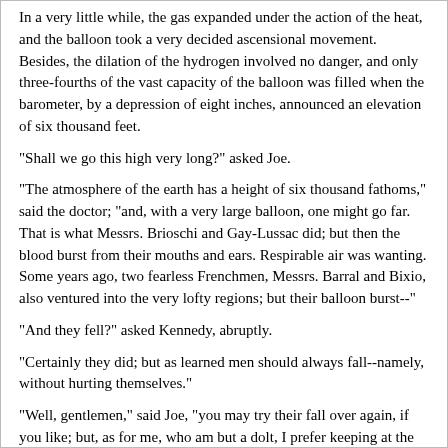In a very little while, the gas expanded under the action of the heat, and the balloon took a very decided ascensional movement. Besides, the dilation of the hydrogen involved no danger, and only three-fourths of the vast capacity of the balloon was filled when the barometer, by a depression of eight inches, announced an elevation of six thousand feet.
"Shall we go this high very long?" asked Joe.
"The atmosphere of the earth has a height of six thousand fathoms," said the doctor; "and, with a very large balloon, one might go far. That is what Messrs. Brioschi and Gay-Lussac did; but then the blood burst from their mouths and ears. Respirable air was wanting. Some years ago, two fearless Frenchmen, Messrs. Barral and Bixio, also ventured into the very lofty regions; but their balloon burst--"
"And they fell?" asked Kennedy, abruptly.
"Certainly they did; but as learned men should always fall--namely, without hurting themselves."
"Well, gentlemen," said Joe, "you may try their fall over again, if you like; but, as for me, who am but a dolt, I prefer keeping at the medium height--neither too far up, nor too low down. It won't do to be too ambitious."
At the height of six thousand feet, the density of the atmosphere has already greatly diminished; sound is conveyed with difficulty, and the voice is not so easily heard. The view of objects becomes confused; the gaze no longer takes in any but large, quite ill-distinguishable masses; men and animals on the surface become absolutely invisible; the roads and rivers get to look like threads, and the lakes dwindle to ponds.
The doctor and his friends felt themselves in a very anomalous condition; an atmospheric current of extreme velocity was bearing them away beyond arid mountains, upon whose summits vast fields of snow surprised the gaze; while their convulsed appearance told of Titanic travail in the earliest epoch of the world's existence.
The sun shone at the zenith, and his rays fell perpendicularly upon those lonely